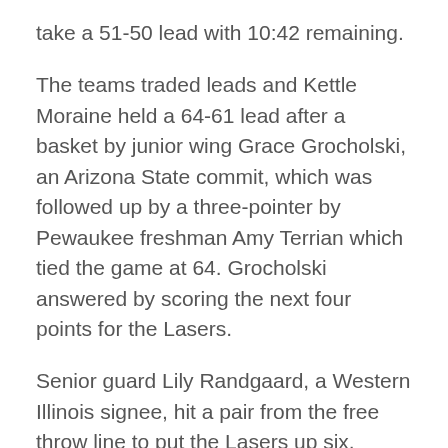take a 51-50 lead with 10:42 remaining.
The teams traded leads and Kettle Moraine held a 64-61 lead after a basket by junior wing Grace Grocholski, an Arizona State commit, which was followed up by a three-pointer by Pewaukee freshman Amy Terrian which tied the game at 64. Grocholski answered by scoring the next four points for the Lasers.
Senior guard Lily Randgaard, a Western Illinois signee, hit a pair from the free throw line to put the Lasers up six. Pewaukee got back within three with an and-1 by Terrian but Kettle Moraine held on for the win.
Grocholski scored a team-high 25 points for the Lasers. Randgaard and junior guard Braelyn Torres also had big games for coach Todd Hansen and the Lasers.
Randgaard finished with 19 points and Torres added 17...